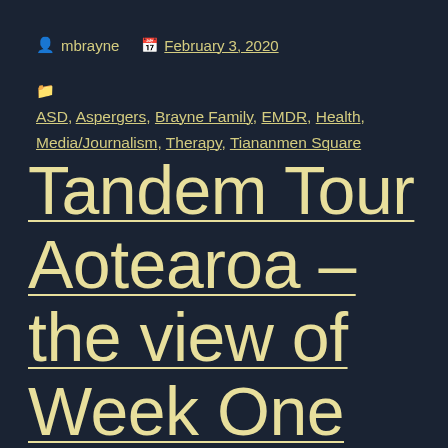mbrayne   February 3, 2020
ASD, Aspergers, Brayne Family, EMDR, Health, Media/Journalism, Therapy, Tiananmen Square
Tandem Tour Aotearoa – the view of Week One